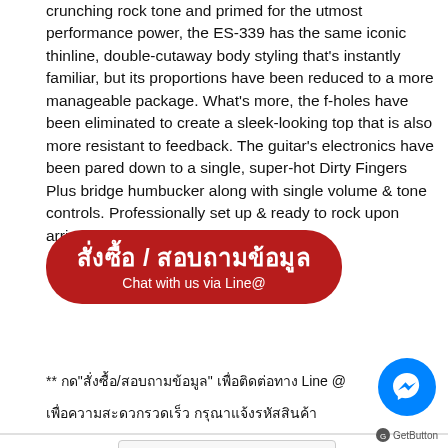crunching rock tone and primed for the utmost performance power, the ES-339 has the same iconic thinline, double-cutaway body styling that's instantly familiar, but its proportions have been reduced to a more manageable package. What's more, the f-holes have been eliminated to create a sleek-looking top that is also more resistant to feedback. The guitar's electronics have been pared down to a single, super-hot Dirty Fingers Plus bridge humbucker along with single volume & tone controls. Professionally set up & ready to rock upon arrival!
[Figure (other): Red rounded rectangle button with Thai text 'สั่งซื้อ / สอบถามข้อมูล' and subtitle 'Chat with us via Line@']
** กด"สั่งซื้อ/สอบถามข้อมูล" เพื่อติดต่อทาง Line @
เพื่อความสะดวกรวดเร็ว กรุณาแจ้งรหัสสินค้า
Colors   Choose an option   ∨